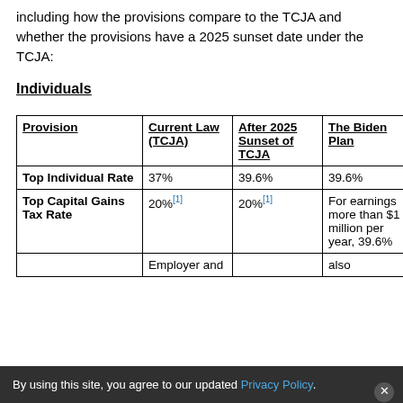including how the provisions compare to the TCJA and whether the provisions have a 2025 sunset date under the TCJA:
Individuals
| Provision | Current Law (TCJA) | After 2025 Sunset of TCJA | The Biden Plan |
| --- | --- | --- | --- |
| Top Individual Rate | 37% | 39.6% | 39.6% |
| Top Capital Gains Tax Rate | 20%[1] | 20%[1] | For earnings more than $1 million per year, 39.6% |
|  | Employer and |  | Also |